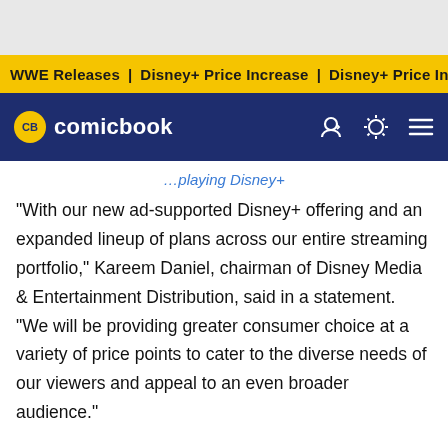WWE Releases | Disney+ Price Increase | Disney+ Price Incre
CB comicbook
"With our new ad-supported Disney+ offering and an expanded lineup of plans across our entire streaming portfolio," Kareem Daniel, chairman of Disney Media & Entertainment Distribution, said in a statement. "We will be providing greater consumer choice at a variety of price points to cater to the diverse needs of our viewers and appeal to an even broader audience."
The idea behind an ad-supported tier is it would allow Disney+ to increase its subscriber base. In a previous